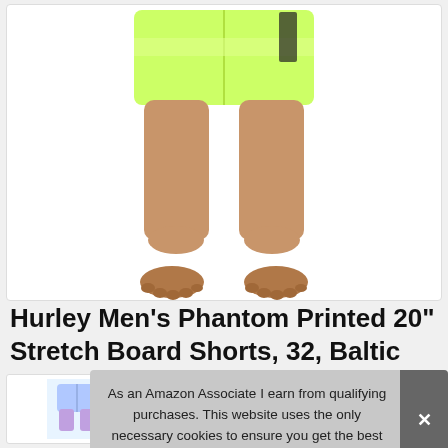[Figure (photo): Product photo showing legs of a model wearing lime green/yellow board shorts, from the knees down, standing barefoot on a white background inside a white product card with rounded border.]
Hurley Men's Phantom Printed 20" Stretch Board Shorts, 32, Baltic Blue
#ad
As an Amazon Associate I earn from qualifying purchases. This website uses the only necessary cookies to ensure you get the best experience on our website. More information
[Figure (photo): Three thumbnail product images of colorful board shorts at the bottom of the page.]